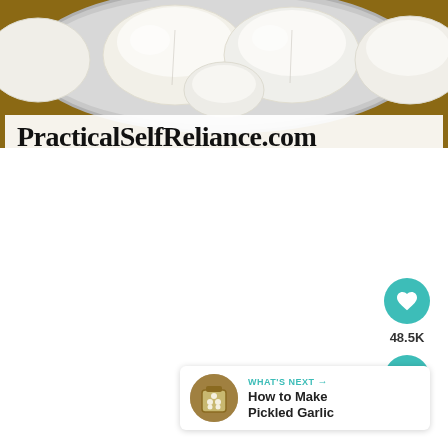[Figure (photo): Close-up photo of peeled white garlic cloves in a silver/metallic bowl on a wooden surface. The website watermark 'PracticalSelfReliance.com' appears in a white banner overlaid at the bottom of the image.]
PracticalSelfReliance.com
[Figure (infographic): Social media engagement buttons: a teal heart/like button showing 48.5K likes, and a teal share button below it.]
48.5K
[Figure (screenshot): A 'What's Next' recommendation panel with a thumbnail image of pickled garlic and the title 'How to Make Pickled Garlic'. The panel has a teal arrow indicating the next article.]
WHAT'S NEXT → How to Make Pickled Garlic